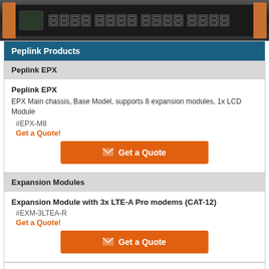[Figure (photo): Peplink EPX network device chassis with orange rack-mount brackets, black body, LCD display, and multiple ethernet ports]
Peplink Products
Peplink EPX
Peplink EPX
EPX Main chassis, Base Model, supports 8 expansion modules, 1x LCD Module
#EPX-M8
Get a Quote!
Get a Quote
Expansion Modules
Expansion Module with 3x LTE-A Pro modems (CAT-12)
#EXM-3LTEA-R
Get a Quote!
Get a Quote
Expansion Module with 3x LTE-A modems (CAT-6)
#EXM-3LTEA-W